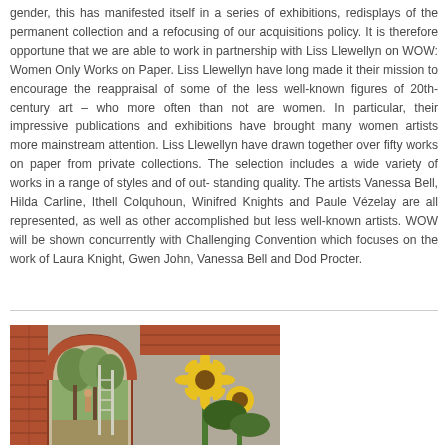gender, this has manifested itself in a series of exhibitions, redisplays of the permanent collection and a refocusing of our acquisitions policy. It is therefore opportune that we are able to work in partnership with Liss Llewellyn on WOW: Women Only Works on Paper. Liss Llewellyn have long made it their mission to encourage the reappraisal of some of the less well-known figures of 20th-century art – who more often than not are women. In particular, their impressive publications and exhibitions have brought many women artists more mainstream attention. Liss Llewellyn have drawn together over fifty works on paper from private collections. The selection includes a wide variety of works in a range of styles and of out- standing quality. The artists Vanessa Bell, Hilda Carline, Ithell Colquhoun, Winifred Knights and Paule Vézelay are all represented, as well as other accomplished but less well-known artists. WOW will be shown concurrently with Challenging Convention which focuses on the work of Laura Knight, Gwen John, Vanessa Bell and Dod Procter.
[Figure (photo): Painting showing an arched brick doorway or garden wall with a view through to trees, a person on a ladder, and sunflowers in the foreground on the right side.]